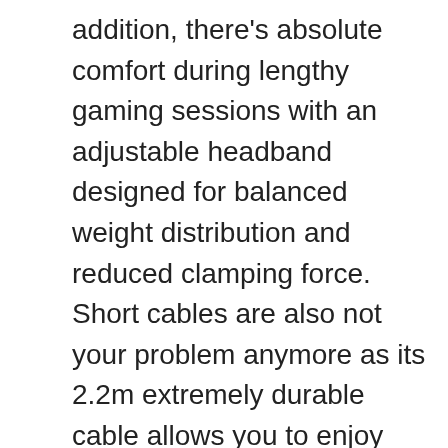addition, there's absolute comfort during lengthy gaming sessions with an adjustable headband designed for balanced weight distribution and reduced clamping force. Short cables are also not your problem anymore as its 2.2m extremely durable cable allows you to enjoy your game with no boundary.
[2 Years Warranty] EKSA gaming headsets are under strict quality inspection on each production line. We offer 24-hour customer support and a 2-year warranty. We will make